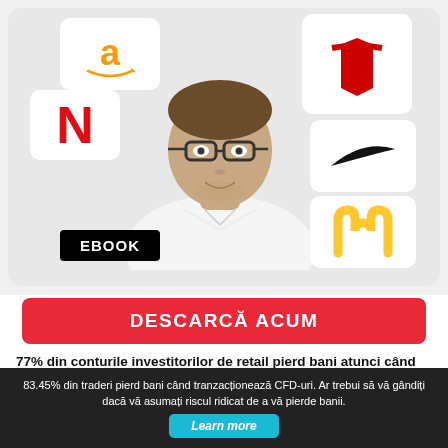[Figure (infographic): Promotional ebook banner showing a young man in white shirt with glasses, surrounded by company logos (Amazon, Tesla, Netflix, Nike, McDonald's) on rounded white tiles against a light grey card background. A black 'EBOOK' label appears at bottom left of the image area.]
DESCARCĂ ACUM
77% din conturile investitorilor de retail pierd bani atunci când tranzacționează CFD-uri cu acest furnizor. Ar trebui să luați în considerare dacă vă puteți permite să vă asumați riscul ridicat de a vă pierde banii.
83.45% din traderi pierd bani când tranzacționează CFD-uri. Ar trebui să vă gândiți dacă vă asumați riscul ridicat de a vă pierde banii.
Learn more